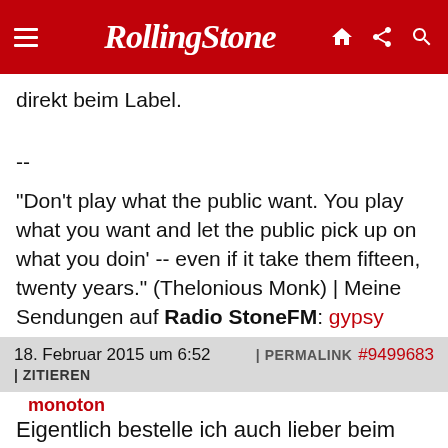Rolling Stone
direkt beim Label.
-- 
"Don't play what the public want. You play what you want and let the public pick up on what you doin' -- even if it take them fifteen, twenty years." (Thelonious Monk) | Meine Sendungen auf Radio StoneFM: gypsy goes jazz, #134: 13.9., 22:00 | Slow Drive to South Africa, #7: tba | No Problem Saloon, #29: tba
18. Februar 2015 um 6:52 | PERMALINK #9499683 | ZITIEREN
[Figure (photo): Black and white photo of a music performer on stage]
monoton
Registriert seit: 07.02.2010
Beiträge: 1,018
Eigentlich bestelle ich auch lieber beim Label, war mir aber